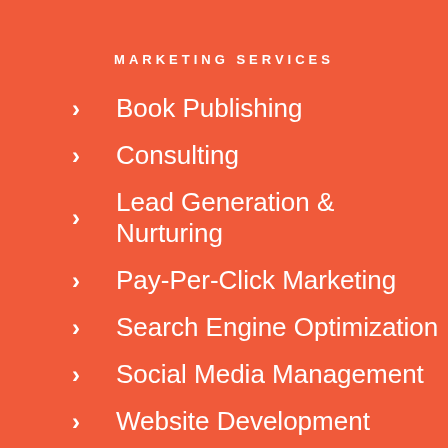MARKETING SERVICES
Book Publishing
Consulting
Lead Generation & Nurturing
Pay-Per-Click Marketing
Search Engine Optimization
Social Media Management
Website Development
COMPANY
Home
About Us